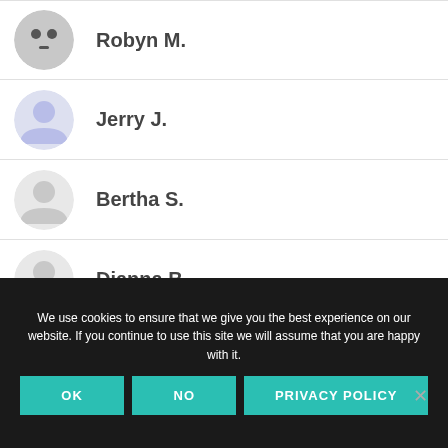Robyn M.
Jerry J.
Bertha S.
Dianna B.
Kristina P.
We use cookies to ensure that we give you the best experience on our website. If you continue to use this site we will assume that you are happy with it.
OK | NO | PRIVACY POLICY